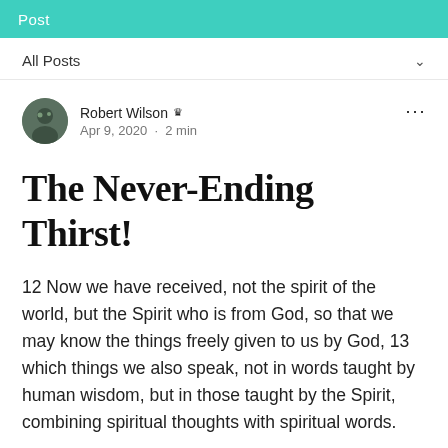Post
All Posts
Robert Wilson 👑
Apr 9, 2020 · 2 min
The Never-Ending Thirst!
12 Now we have received, not the spirit of the world, but the Spirit who is from God, so that we may know the things freely given to us by God, 13 which things we also speak, not in words taught by human wisdom, but in those taught by the Spirit, combining spiritual thoughts with spiritual words.